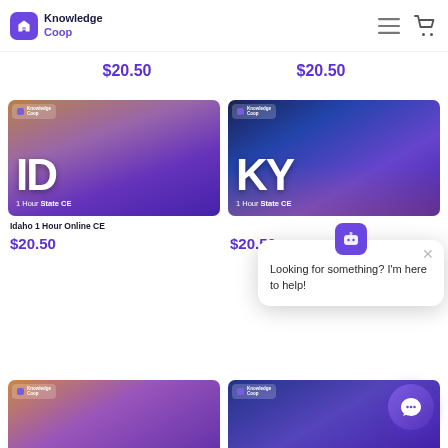Knowledge Coop
$20.50
$20.50
[Figure (screenshot): Idaho 1 Hour State CE course card with purple/brown gradient background showing 'ID' and '1 Hour State CE']
[Figure (screenshot): Kentucky 1 Hour State CE course card with blue/purple gradient background showing 'KY' and '1 Hour State CE']
Idaho 1 Hour Online CE
$20.50
$20.50
Looking for something? I'm here to help!
[Figure (screenshot): Partial bottom course card with purple gradient]
[Figure (screenshot): Partial bottom course card with blue/purple gradient]